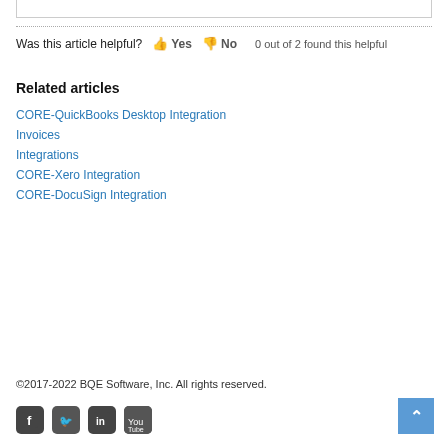Was this article helpful? Yes No 0 out of 2 found this helpful
Related articles
CORE-QuickBooks Desktop Integration
Invoices
Integrations
CORE-Xero Integration
CORE-DocuSign Integration
©2017-2022 BQE Software, Inc. All rights reserved.